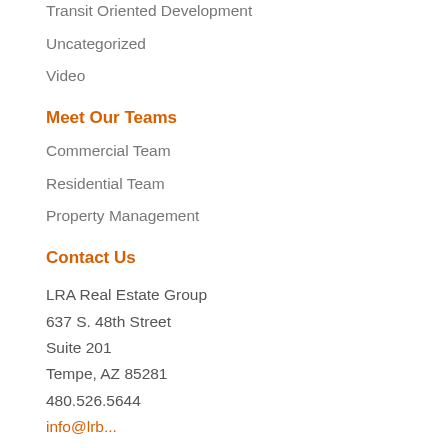Transit Oriented Development
Uncategorized
Video
Meet Our Teams
Commercial Team
Residential Team
Property Management
Contact Us
LRA Real Estate Group
637 S. 48th Street
Suite 201
Tempe, AZ 85281
480.526.5644
info@lrb...